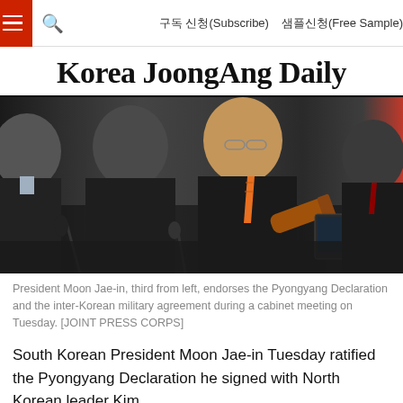구독 신청(Subscribe)   샘플신청(Free Sample)
Korea JoongAng Daily
[Figure (photo): President Moon Jae-in and other officials seated at a cabinet meeting table, with a wooden gavel visible on the table. Multiple people in dark suits are shown in profile.]
President Moon Jae-in, third from left, endorses the Pyongyang Declaration and the inter-Korean military agreement during a cabinet meeting on Tuesday. [JOINT PRESS CORPS]
South Korean President Moon Jae-in Tuesday ratified the Pyongyang Declaration he signed with North Korean leader Kim